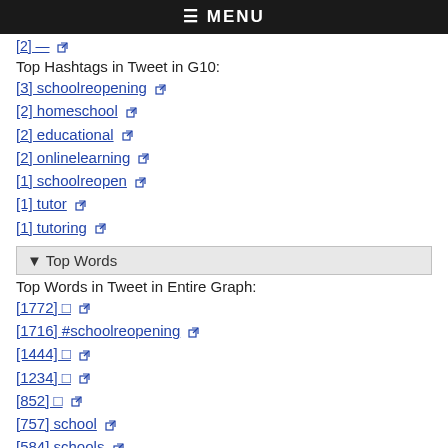≡ MENU
[2] —
Top Hashtags in Tweet in G10:
[3] schoolreopening
[2] homeschool
[2] educational
[2] onlinelearning
[1] schoolreopen
[1] tutor
[1] tutoring
▾ Top Words
Top Words in Tweet in Entire Graph:
[1772] □
[1716] #schoolreopening
[1444] □
[1234] □
[852] □
[757] school
[584] schools
[532] □
[442] □
[423] □
Top Words in Tweet in G1:
[353] #schoolreopening